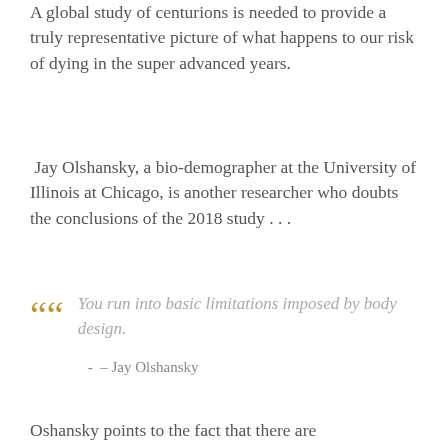A global study of centurions is needed to provide a truly representative picture of what happens to our risk of dying in the super advanced years.
Jay Olshansky, a bio-demographer at the University of Illinois at Chicago, is another researcher who doubts the conclusions of the 2018 study . . .
You run into basic limitations imposed by body design.
– Jay Olshansky
Oshansky points to the fact that there are